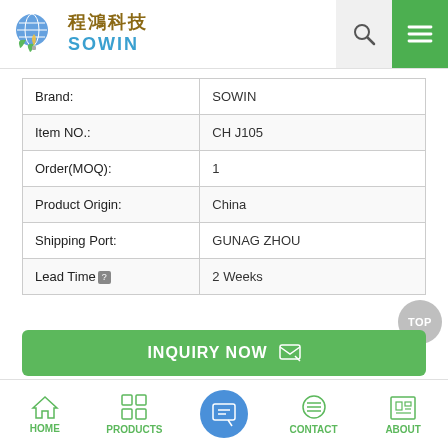[Figure (logo): Cheng Hong Technology SOWIN logo with globe and leaf graphic]
| Brand: | SOWIN |
| Item NO.: | CH J105 |
| Order(MOQ): | 1 |
| Product Origin: | China |
| Shipping Port: | GUNAG ZHOU |
| Lead Time? | 2 Weeks |
INQUIRY NOW
[Figure (infographic): Bottom navigation bar with HOME, PRODUCTS, center inquiry icon, CONTACT, ABOUT]